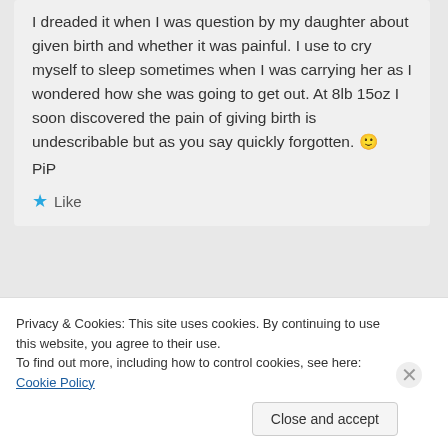I dreaded it when I was question by my daughter about given birth and whether it was painful. I use to cry myself to sleep sometimes when I was carrying her as I wondered how she was going to get out. At 8lb 15oz I soon discovered the pain of giving birth is undescribable but as you say quickly forgotten. 🙂
PiP
★ Like
Advertisements
[Figure (other): WordPress.com advertisement banner with gradient background (blue to purple to pink). Text reads: 'Simplified pricing for everything you need.' with WordPress.com logo on the right.]
Privacy & Cookies: This site uses cookies. By continuing to use this website, you agree to their use.
To find out more, including how to control cookies, see here: Cookie Policy
Close and accept